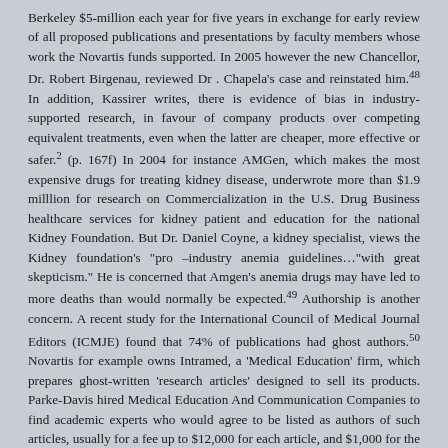Berkeley $5-million each year for five years in exchange for early review of all proposed publications and presentations by faculty members whose work the Novartis funds supported. In 2005 however the new Chancellor, Dr. Robert Birgenau, reviewed Dr . Chapela's case and reinstated him.48 In addition, Kassirer writes, there is evidence of bias in industry-supported research, in favour of company products over competing equivalent treatments, even when the latter are cheaper, more effective or safer.2 (p. 167f) In 2004 for instance AMGen, which makes the most expensive drugs for treating kidney disease, underwrote more than $1.9 milllion for research on Commercialization in the U.S. Drug Business healthcare services for kidney patient and education for the national Kidney Foundation. But Dr. Daniel Coyne, a kidney specialist, views the Kidney foundation's "pro –industry anemia guidelines…"with great skepticism." He is concerned that Amgen's anemia drugs may have led to more deaths than would normally be expected.49 Authorship is another concern. A recent study for the International Council of Medical Journal Editors (ICMJE) found that 74% of publications had ghost authors.50 Novartis for example owns Intramed, a 'Medical Education' firm, which prepares ghost-written 'research articles' designed to sell its products. Parke-Davis hired Medical Education And Communication Companies to find academic experts who would agree to be listed as authors of such articles, usually for a fee up to $12,000 for each article, and $1,000 for the ghost writer. Thus, as one memo said about an author search, "The COMPANY HAS DRAFT COMPLETE. WE JUST NEED AN AUTHOR." (1, p. 159; their caps) It is no wonder, David Korn and Susan Ehringhaus claim, that there is widespread "public skepticism about the timeliness, accuracy, and completeness of reporting